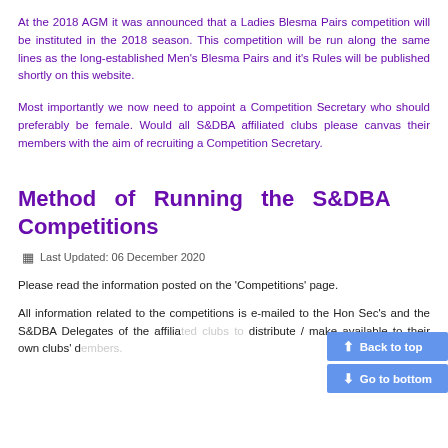At the 2018 AGM it was announced that a Ladies Blesma Pairs competition will be instituted in the 2018 season. This competition will be run along the same lines as the long-established Men's Blesma Pairs and it's Rules will be published shortly on this website.
Most importantly we now need to appoint a Competition Secretary who should preferably be female. Would all S&DBA affiliated clubs please canvas their members with the aim of recruiting a Competition Secretary.
Method of Running the S&DBA Competitions
Last Updated: 06 December 2020
Please read the information posted on the 'Competitions' page.
All information related to the competitions is e-mailed to the Hon Sec's and the S&DBA Delegates of the affiliated clubs to distribute / make available to their own clubs' members.